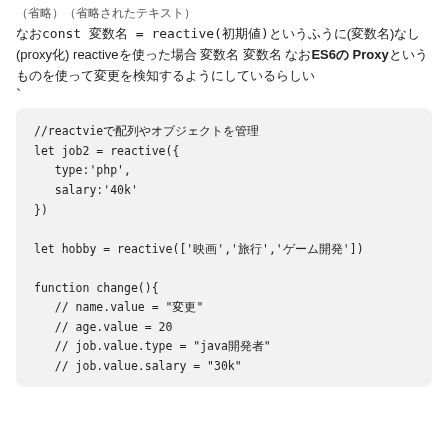（省略）（省略されたテキスト）
なおconst 変数名 = reactive(初期値)というふうに(変数名)なし(proxy化) reactiveを使った場合 変数名 変数名 なおES6の Proxyというものを使って変更を検知するようにしているらしい
`
//reactvieで配列やオブジェクトを管理
let job2 = reactive({
   type:'php',
   salary:'40k'
})

let hobby = reactive(['映画','旅行','ゲーム開発'])

function change(){
   // name.value = "変更"
   // age.value = 20
   // job.value.type = "java開発者"
   // job.value.salary = "30k"